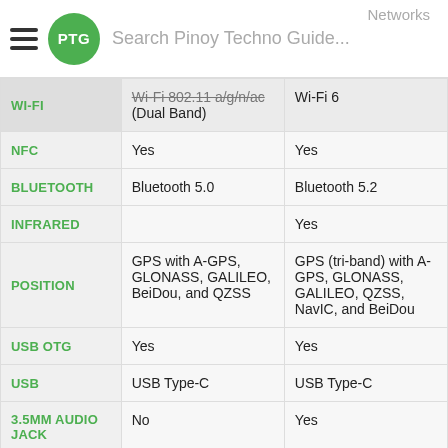Search Pinoy Techno Guide...
|  | Device A | Device B |
| --- | --- | --- |
| WI-FI | Wi-Fi 802.11 a/g/n/ac (Dual Band) | Wi-Fi 6 |
| NFC | Yes | Yes |
| BLUETOOTH | Bluetooth 5.0 | Bluetooth 5.2 |
| INFRARED |  | Yes |
| POSITION | GPS with A-GPS, GLONASS, GALILEO, BeiDou, and QZSS | GPS (tri-band) with A-GPS, GLONASS, GALILEO, QZSS, NavIC, and BeiDou |
| USB OTG | Yes | Yes |
| USB | USB Type-C | USB Type-C |
| 3.5MM AUDIO JACK | No | Yes |